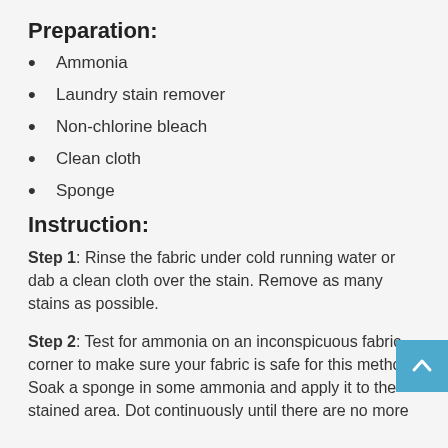Preparation:
Ammonia
Laundry stain remover
Non-chlorine bleach
Clean cloth
Sponge
Instruction:
Step 1: Rinse the fabric under cold running water or dab a clean cloth over the stain. Remove as many stains as possible.
Step 2: Test for ammonia on an inconspicuous fabric corner to make sure your fabric is safe for this method. Soak a sponge in some ammonia and apply it to the stained area. Dot continuously until there are no more